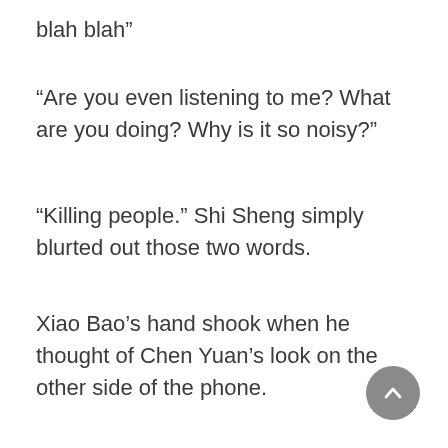blah blah”
“Are you even listening to me? What are you doing? Why is it so noisy?”
“Killing people.” Shi Sheng simply blurted out those two words.
Xiao Bao’s hand shook when he thought of Chen Yuan’s look on the other side of the phone.